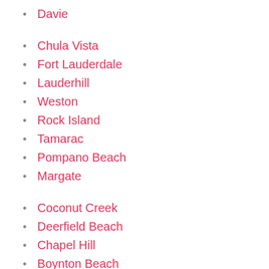Davie
Chula Vista
Fort Lauderdale
Lauderhill
Weston
Rock Island
Tamarac
Pompano Beach
Margate
Coconut Creek
Deerfield Beach
Chapel Hill
Boynton Beach
Shawano
Palm Beach
Chatham
West Palm Beach